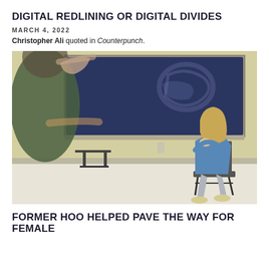DIGITAL REDLINING OR DIGITAL DIVIDES
MARCH 4, 2022
Christopher Ali quoted in Counterpunch.
[Figure (photo): A woman in a blue sweater and grey pants sits on a chair in a classroom, resting her chin on her hand thoughtfully, while a student in the foreground (blurred, wearing green) raises their hand toward a chalkboard.]
FORMER HOO HELPED PAVE THE WAY FOR FEMALE